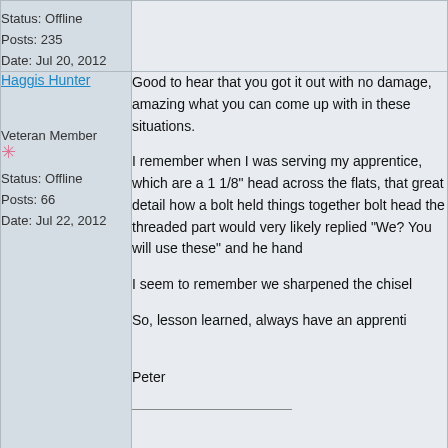Status: Offline
Posts: 235
Date: Jul 20, 2012
Haggis Hunter
Veteran Member
Status: Offline
Posts: 66
Date: Jul 22, 2012
Good to hear that you got it out with no damage, amazing what you can come up with in these situations.

I remember when I was serving my apprenticeship...

I seem to remember we sharpened the chisel...

So, lesson learned, always have an apprenti...

Peter
spit
Veteran Member
stripped sump plug
very stupidly I have turned the sump plug the...